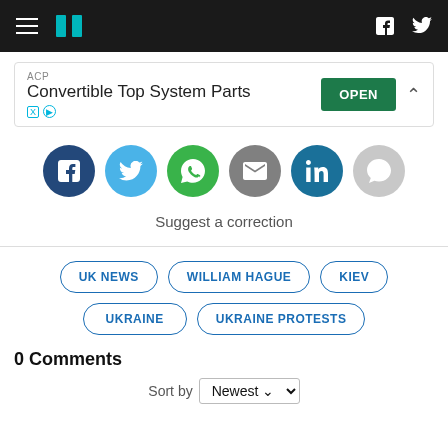HuffPost navigation bar with hamburger menu, logo, Facebook and Twitter icons
[Figure (screenshot): Advertisement banner: ACP - Convertible Top System Parts with green OPEN button]
[Figure (infographic): Social sharing buttons: Facebook (dark blue), Twitter (light blue), WhatsApp (green), Email (grey), LinkedIn (teal), Comments (light grey)]
Suggest a correction
UK NEWS
WILLIAM HAGUE
KIEV
UKRAINE
UKRAINE PROTESTS
0 Comments
Sort by Newest